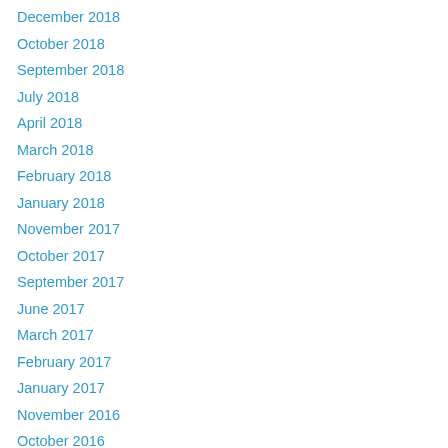December 2018
October 2018
September 2018
July 2018
April 2018
March 2018
February 2018
January 2018
November 2017
October 2017
September 2017
June 2017
March 2017
February 2017
January 2017
November 2016
October 2016
September 2016
July 2016
May 2016